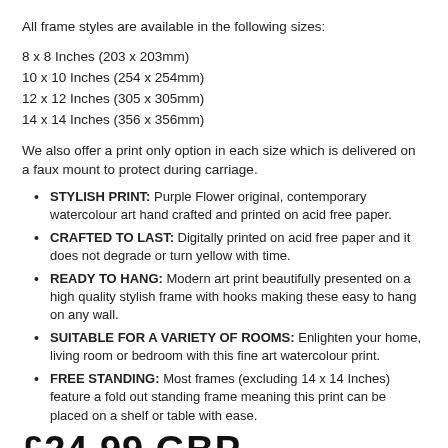All frame styles are available in the following sizes:
8 x 8 Inches (203 x 203mm)
10 x 10 Inches (254 x 254mm)
12 x 12 Inches (305 x 305mm)
14 x 14 Inches (356 x 356mm)
We also offer a print only option in each size which is delivered on a faux mount to protect during carriage.
STYLISH PRINT: Purple Flower original, contemporary watercolour art hand crafted and printed on acid free paper.
CRAFTED TO LAST: Digitally printed on acid free paper and it does not degrade or turn yellow with time.
READY TO HANG: Modern art print beautifully presented on a high quality stylish frame with hooks making these easy to hang on any wall.
SUITABLE FOR A VARIETY OF ROOMS: Enlighten your home, living room or bedroom with this fine art watercolour print.
FREE STANDING: Most frames (excluding 14 x 14 Inches) feature a fold out standing frame meaning this print can be placed on a shelf or table with ease.
£24.99 GBP